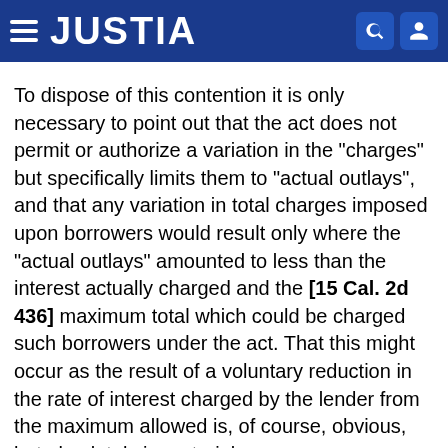JUSTIA
To dispose of this contention it is only necessary to point out that the act does not permit or authorize a variation in the "charges" but specifically limits them to "actual outlays", and that any variation in total charges imposed upon borrowers would result only where the "actual outlays" amounted to less than the interest actually charged and the [15 Cal. 2d 436] maximum total which could be charged such borrowers under the act. That this might occur as the result of a voluntary reduction in the rate of interest charged by the lender from the maximum allowed is, of course, obvious, but absolutely immaterial.
[13] Petitioner's claim that the act permits interest in excess of the constitutional limitation is based upon the provision that a month shall be any period of thirty consecutive days, from which he argues that twelve months would be three hundred sixty days; that 10 per…